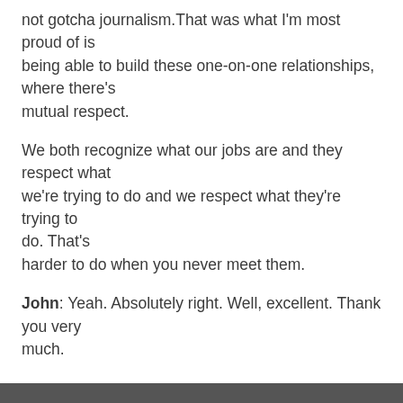not gotcha journalism.That was what I'm most proud of is being able to build these one-on-one relationships, where there's mutual respect.
We both recognize what our jobs are and they respect what we're trying to do and we respect what they're trying to do. That's harder to do when you never meet them.
John: Yeah. Absolutely right. Well, excellent. Thank you very much.